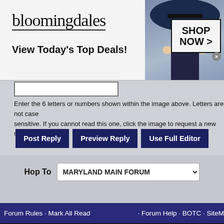[Figure (screenshot): Bloomingdales advertisement banner: logo, 'View Today's Top Deals!', woman with hat, SHOP NOW button]
Enter the 6 letters or numbers shown within the image above. Letters are not case sensitive. If you cannot read this one, click the image to request a new one.
Post Reply   Preview Reply   Use Full Editor
Hop To   MARYLAND MAIN FORUM
Forum Rules · Mark All Read · Forum Help · BOTC · SiteMap
[Figure (screenshot): Bottom strip with logo boxes, Camps, Private Lessons text]
[Figure (screenshot): Seamless food delivery advertisement with pizza image and ORDER NOW button]